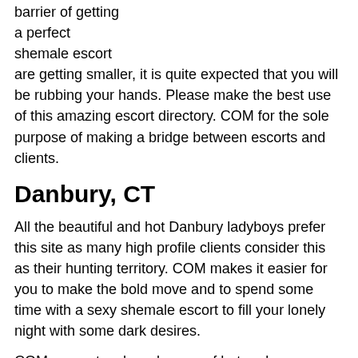barrier of getting a perfect shemale escort are getting smaller, it is quite expected that you will be rubbing your hands. Please make the best use of this amazing escort directory. COM for the sole purpose of making a bridge between escorts and clients.
Danbury, CT
All the beautiful and hot Danbury ladyboys prefer this site as many high profile clients consider this as their hunting territory. COM makes it easier for you to make the bold move and to spend some time with a sexy shemale escort to fill your lonely night with some dark desires.
COM presents a broad range of hot and sexy transsexuals from around over the world. Stunning shemale escorts listed on our are sure to be able to provide you with pleasures you never even knew existed.